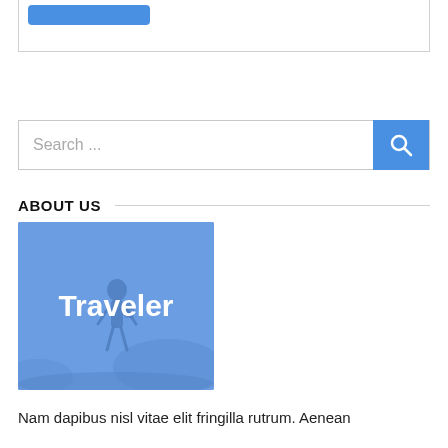[Figure (screenshot): Top portion of a web page showing a white box with a blue button partially visible at top]
[Figure (screenshot): Search bar with placeholder text 'Search ...' and a blue search button with magnifying glass icon]
ABOUT US
[Figure (photo): Blue-tinted image of a traveler/hiker with bold white text 'Traveler' overlaid in the center]
Nam dapibus nisl vitae elit fringilla rutrum. Aenean